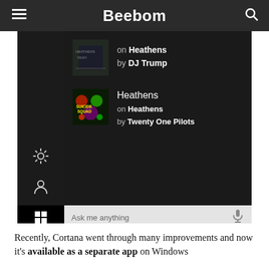Beebom
[Figure (screenshot): Windows 10 Cortana music search results showing two songs named 'Heathens': one on the 'Heathens' album by DJ Trump, another on the 'Heathens' album by Twenty One Pilots. The interface shows album art, song info, a left sidebar with settings and user icons, and a taskbar at the bottom with 'Ask me anything' search box.]
Recently, Cortana went through many improvements and now it's available as a separate app on Windows